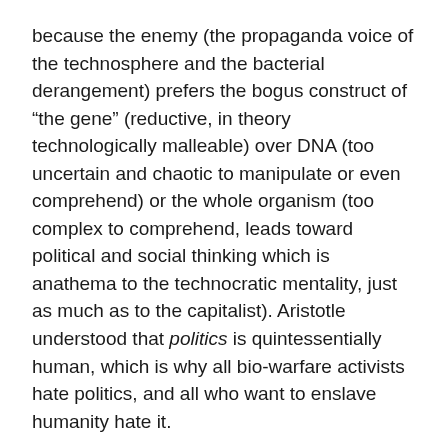because the enemy (the propaganda voice of the technosphere and the bacterial derangement) prefers the bogus construct of “the gene” (reductive, in theory technologically malleable) over DNA (too uncertain and chaotic to manipulate or even comprehend) or the whole organism (too complex to comprehend, leads toward political and social thinking which is anathema to the technocratic mentality, just as much as to the capitalist). Aristotle understood that politics is quintessentially human, which is why all bio-warfare activists hate politics, and all who want to enslave humanity hate it.
13. I don’t have a TV and only rarely watch at someone else’s house. But each time I do I see commercials for 23andMe. It’s a major propaganda campaign. This propaganda reruns the original racist/eugenic/Nazi